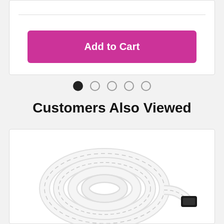Add to Cart
[Figure (other): Pagination dots: one filled black circle followed by four empty circle outlines]
Customers Also Viewed
[Figure (photo): White braided cable coiled up, product photo on white background]